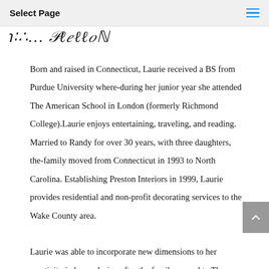Select Page
Laurie Preston
Born and raised in Connecticut, Laurie received a BS from Purdue University where-during her junior year she attended The American School in London (formerly Richmond College).Laurie enjoys entertaining, traveling, and reading. Married to Randy for over 30 years, with three daughters, the-family moved from Connecticut in 1993 to North Carolina. Establishing Preston Interiors in 1999, Laurie provides residential and non-profit decorating services to the Wake County area.

Laurie was able to incorporate new dimensions to her creativity in home design after the family moved to The Hague, the Netherlands in 2003. Upon returning to North